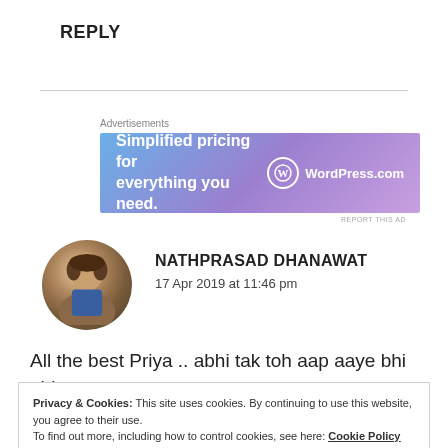REPLY
[Figure (illustration): Advertisement banner for WordPress.com with gradient blue-purple background. Text: 'Simplified pricing for everything you need.' with WordPress.com logo on the right.]
Advertisements
REPORT THIS AD
[Figure (photo): Circular avatar photo of a man, Nathprasad Dhanawat]
NATHPRASAD DHANAWAT
17 Apr 2019 at 11:46 pm
All the best Priya .. abhi tak toh aap aaye bhi nhi
Privacy & Cookies: This site uses cookies. By continuing to use this website, you agree to their use.
To find out more, including how to control cookies, see here: Cookie Policy
Close and accept